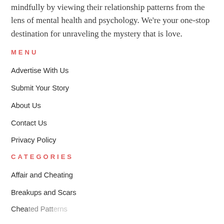mindfully by viewing their relationship patterns from the lens of mental health and psychology. We're your one-stop destination for unraveling the mystery that is love.
MENU
Advertise With Us
Submit Your Story
About Us
Contact Us
Privacy Policy
CATEGORIES
Affair and Cheating
Breakups and Scars
Cheated Patterns